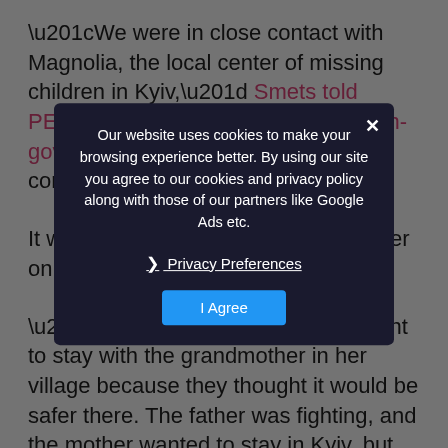“We were in close contact with Magnolia, the local center of missing children in Kyiv,” Smets told PEOPLE, adding that Magnolia, a non-governmental organization, was in contact with Sasha’s mom.
It was determined that Sasha died later on March 10th.
“We know that the child was sent to stay with the grandmother in her village because they thought it would be safer there. The father was fighting, and the mother wanted to stay in Kyiv, but then the roads [to the village] were blocked and the bridges bombed, so they had to go by water with 15 other people,” Smets explained.
In an effort to cross the Dnipro river, the group took two small boats.
[Figure (other): Cookie consent banner overlay with dark semi-transparent background. Banner reads: 'Our website uses cookies to make your browsing experience better. By using our site you agree to our cookies and privacy policy along with those of our partners like Google Ads etc.' with a 'Privacy Preferences' link and 'I Agree' button. An X close button appears in the top right.]